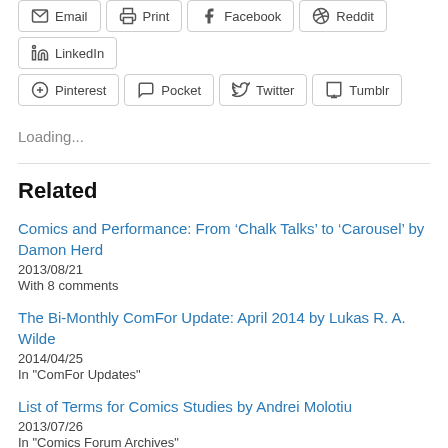Email
Print
Facebook
Reddit
LinkedIn
Pinterest
Pocket
Twitter
Tumblr
Loading...
Related
Comics and Performance: From ‘Chalk Talks’ to ‘Carousel’ by Damon Herd
2013/08/21
With 8 comments
The Bi-Monthly ComFor Update: April 2014 by Lukas R. A. Wilde
2014/04/25
In "ComFor Updates"
List of Terms for Comics Studies by Andrei Molotiu
2013/07/26
In "Comics Forum Archives"